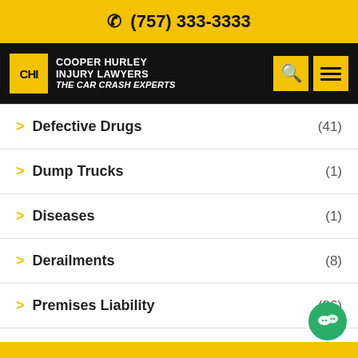☎ (757) 333-3333
CHI COOPER HURLEY INJURY LAWYERS THE CAR CRASH EXPERTS
> Defective Drugs (41)
> Dump Trucks (1)
> Diseases (1)
> Derailments (8)
> Premises Liability (86)
> Sexual Assault (1)
> Garbage Trucks